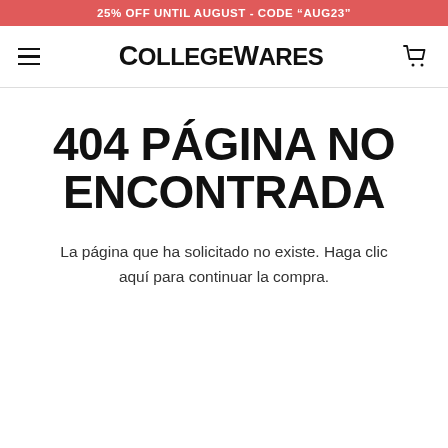25% OFF UNTIL AUGUST - CODE "AUG23"
[Figure (screenshot): CollegeWares navigation bar with hamburger menu icon, bold logo text 'CollegeWares', and shopping cart icon]
404 PÁGINA NO ENCONTRADA
La página que ha solicitado no existe. Haga clic aquí para continuar la compra.